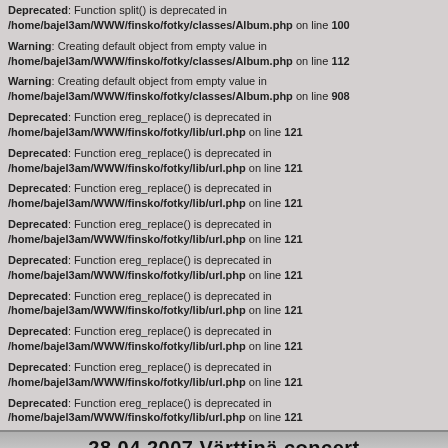Deprecated: Function split() is deprecated in /home/bajel3am/WWW/finsko/fotky/classes/Album.php on line 100
Warning: Creating default object from empty value in /home/bajel3am/WWW/finsko/fotky/classes/Album.php on line 112
Warning: Creating default object from empty value in /home/bajel3am/WWW/finsko/fotky/classes/Album.php on line 908
Deprecated: Function ereg_replace() is deprecated in /home/bajel3am/WWW/finsko/fotky/lib/url.php on line 121
Deprecated: Function ereg_replace() is deprecated in /home/bajel3am/WWW/finsko/fotky/lib/url.php on line 121
Deprecated: Function ereg_replace() is deprecated in /home/bajel3am/WWW/finsko/fotky/lib/url.php on line 121
Deprecated: Function ereg_replace() is deprecated in /home/bajel3am/WWW/finsko/fotky/lib/url.php on line 121
Deprecated: Function ereg_replace() is deprecated in /home/bajel3am/WWW/finsko/fotky/lib/url.php on line 121
Deprecated: Function ereg_replace() is deprecated in /home/bajel3am/WWW/finsko/fotky/lib/url.php on line 121
Deprecated: Function ereg_replace() is deprecated in /home/bajel3am/WWW/finsko/fotky/lib/url.php on line 121
Deprecated: Function ereg_replace() is deprecated in /home/bajel3am/WWW/finsko/fotky/lib/url.php on line 121
Deprecated: Function ereg_replace() is deprecated in /home/bajel3am/WWW/finsko/fotky/lib/url.php on line 121
28.04.2007 Värttinä concert
Deprecated: Function ereg_replace() is deprecated in /home/bajel3am/WWW/finsko/fotky/lib/url.php on line 121